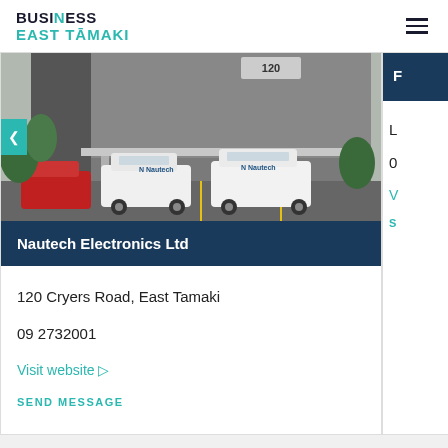BUSINESS EAST TĀMAKI
[Figure (photo): Exterior of building numbered 120 with several vehicles including white Nautech-branded cars and a red car parked in front]
Nautech Electronics Ltd
120 Cryers Road, East Tamaki
09 2732001
Visit website ▷
SEND MESSAGE